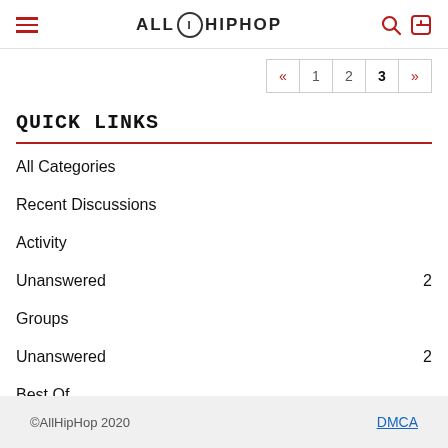ALLHIPHOP
« 1 2 3 »
QUICK LINKS
All Categories
Recent Discussions
Activity
Unanswered 2
Groups
Unanswered 2
Best Of
©AllHipHop 2020  DMCA